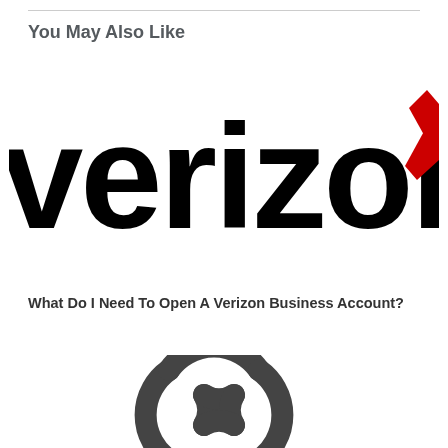You May Also Like
[Figure (logo): Verizon logo — black lowercase 'verizon' text with a red checkmark partially visible at right edge]
What Do I Need To Open A Verizon Business Account?
[Figure (logo): Squarespace logo — circular interlocking spiral/swirl icon in dark gray, partially cropped at bottom]